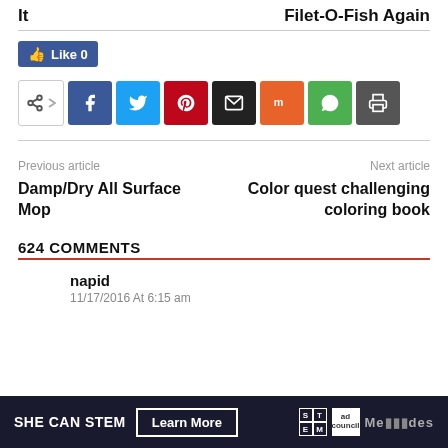It   Filet-O-Fish Again
[Figure (screenshot): Social share buttons row: share icon button, Facebook, Twitter, Pinterest, Email, Mix, WhatsApp, Print]
Previous article
Damp/Dry All Surface Mop
Next article
Color quest challenging coloring book
624 COMMENTS
napid
11/17/2016 At 6:15 am
[Figure (screenshot): Ad banner: SHE CAN STEM, Learn More button, STEM logo, Ad Council logo, Mediavine logo]